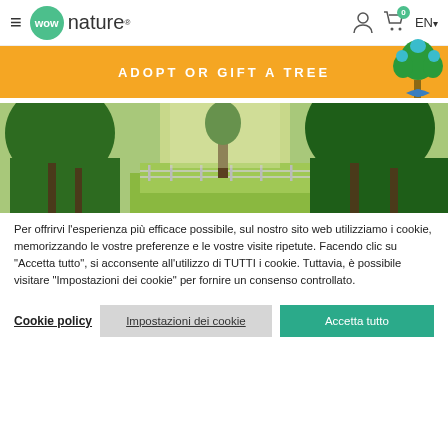≡  wow nature®  [user icon] [cart 0] EN▾
ADOPT OR GIFT A TREE
[Figure (photo): Wide panoramic photo of a lush green forest with tall trees, fencing visible in the background, bright daylight.]
Per offrirvi l'esperienza più efficace possibile, sul nostro sito web utilizziamo i cookie, memorizzando le vostre preferenze e le vostre visite ripetute. Facendo clic su "Accetta tutto", si acconsente all'utilizzo di TUTTI i cookie. Tuttavia, è possibile visitare "Impostazioni dei cookie" per fornire un consenso controllato.
Cookie policy  Impostazioni dei cookie  Accetta tutto